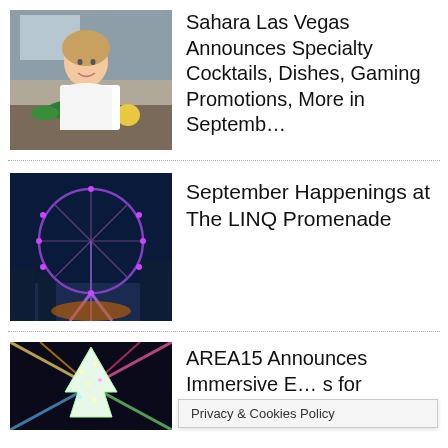[Figure (photo): A smiling female chef in white chef coat posing behind a kitchen counter with vegetables and food ingredients]
Sahara Las Vegas Announces Specialty Cocktails, Dishes, Gaming Promotions, More in Septemb…
[Figure (photo): The High Roller observation wheel in Las Vegas lit up with purple lights at night against a dark blue sky]
September Happenings at The LINQ Promenade
[Figure (photo): Illuminated tree with colorful light beams in a dark environment, part of AREA15 immersive experience]
AREA15 Announces Immersive E… s for
Privacy & Cookies Policy